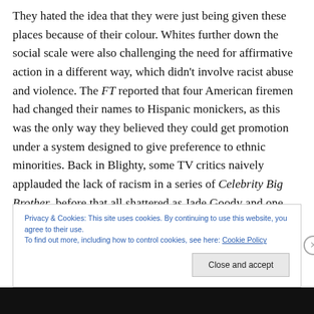They hated the idea that they were just being given these places because of their colour. Whites further down the social scale were also challenging the need for affirmative action in a different way, which didn't involve racist abuse and violence. The FT reported that four American firemen had changed their names to Hispanic monickers, as this was the only way they believed they could get promotion under a system designed to give preference to ethnic minorities. Back in Blighty, some TV critics naively applauded the lack of racism in a series of Celebrity Big Brother, before that all shattered as Jade Goody and one
Privacy & Cookies: This site uses cookies. By continuing to use this website, you agree to their use.
To find out more, including how to control cookies, see here: Cookie Policy
Close and accept